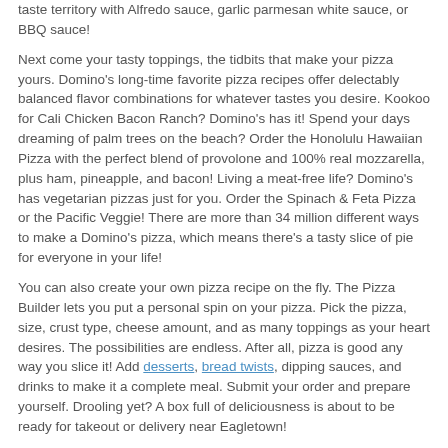taste territory with Alfredo sauce, garlic parmesan white sauce, or BBQ sauce!
Next come your tasty toppings, the tidbits that make your pizza yours. Domino's long-time favorite pizza recipes offer delectably balanced flavor combinations for whatever tastes you desire. Kookoo for Cali Chicken Bacon Ranch? Domino's has it! Spend your days dreaming of palm trees on the beach? Order the Honolulu Hawaiian Pizza with the perfect blend of provolone and 100% real mozzarella, plus ham, pineapple, and bacon! Living a meat-free life? Domino's has vegetarian pizzas just for you. Order the Spinach & Feta Pizza or the Pacific Veggie! There are more than 34 million different ways to make a Domino's pizza, which means there's a tasty slice of pie for everyone in your life!
You can also create your own pizza recipe on the fly. The Pizza Builder lets you put a personal spin on your pizza. Pick the pizza, size, crust type, cheese amount, and as many toppings as your heart desires. The possibilities are endless. After all, pizza is good any way you slice it! Add desserts, bread twists, dipping sauces, and drinks to make it a complete meal. Submit your order and prepare yourself. Drooling yet? A box full of deliciousness is about to be ready for takeout or delivery near Eagletown!